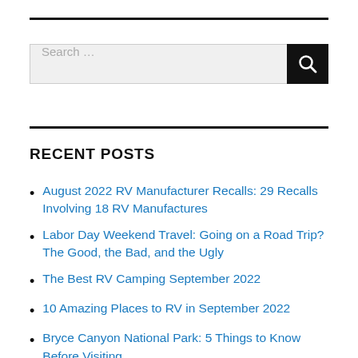[Figure (other): Search bar with text field and search button]
RECENT POSTS
August 2022 RV Manufacturer Recalls: 29 Recalls Involving 18 RV Manufactures
Labor Day Weekend Travel: Going on a Road Trip? The Good, the Bad, and the Ugly
The Best RV Camping September 2022
10 Amazing Places to RV in September 2022
Bryce Canyon National Park: 5 Things to Know Before Visiting